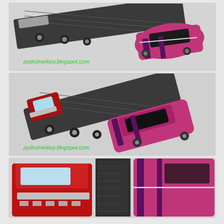[Figure (photo): Top-down angled view of a dark gray/black toy car transporter (Hot Wheels style) carrying a pink/magenta classic muscle car on its deck. Watermark text reads 'pydrumerboy.blogspot.com' in green.]
[Figure (photo): Side angled view of the same toy car transporter set — dark gray hauler with red cab visible at left, carrying a pink/magenta classic muscle car on the lowered ramp. Watermark text reads 'pydrumerboy.blogspot.com' in green.]
[Figure (photo): Close-up top view of the toy vehicles — red cab of the transporter on the left and the pink/magenta car on the right against the dark transporter bed. Partially cropped at the bottom.]